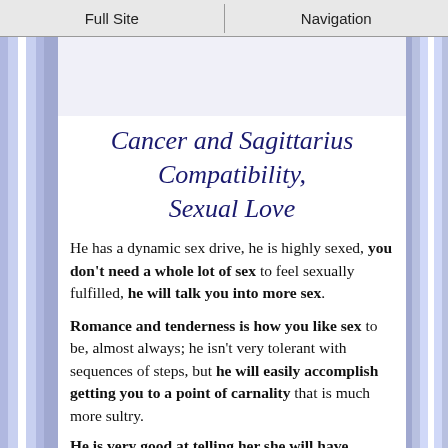Full Site | Navigation
[Figure (photo): Partial image of a person visible at the top of the content area]
Cancer and Sagittarius Compatibility, Sexual Love
He has a dynamic sex drive, he is highly sexed, you don't need a whole lot of sex to feel sexually fulfilled, he will talk you into more sex.
Romance and tenderness is how you like sex to be, almost always; he isn't very tolerant with sequences of steps, but he will easily accomplish getting you to a point of carnality that is much more sultry.
He is very good at telling her she will have...